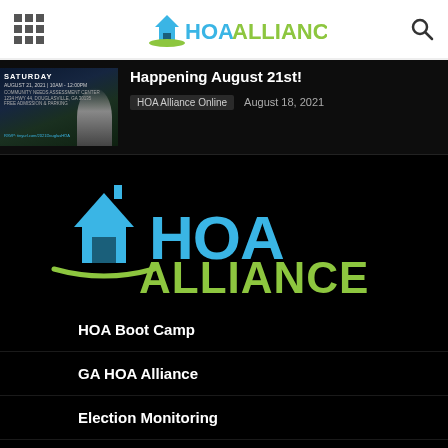HOA Alliance website header with navigation grid icon, HOA Alliance logo, and search icon
[Figure (screenshot): Event thumbnail image for Saturday August 21, 2021 10AM-12PM HOA event with a person in professional attire]
Happening August 21st!
HOA Alliance Online   August 18, 2021
[Figure (logo): HOA Alliance logo - large house icon in blue with HOA in cyan and ALLIANCE in lime green]
HOA Boot Camp
GA HOA Alliance
Election Monitoring
HOA Resident Orientation